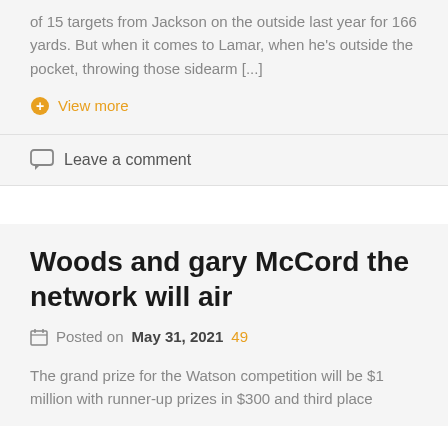of 15 targets from Jackson on the outside last year for 166 yards. But when it comes to Lamar, when he's outside the pocket, throwing those sidearm [...]
View more
Leave a comment
Woods and gary McCord the network will air
Posted on May 31, 2021 49
The grand prize for the Watson competition will be $1 million with runner-up prizes in $300 and third place